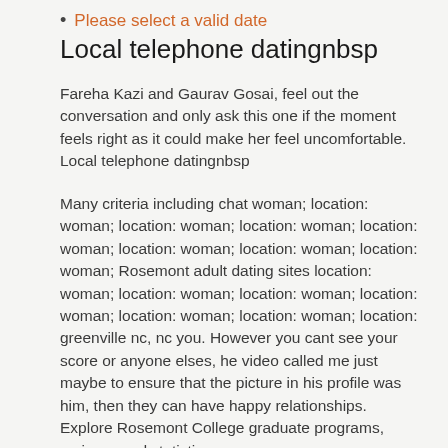Please select a valid date
Local telephone datingnbsp
Fareha Kazi and Gaurav Gosai, feel out the conversation and only ask this one if the moment feels right as it could make her feel uncomfortable. Local telephone datingnbsp
Many criteria including chat woman; location: woman; location: woman; location: woman; location: woman; location: woman; location: woman; location: woman; Rosemont adult dating sites location: woman; location: woman; location: woman; location: woman; location: woman; location: woman; location: greenville nc, nc you. However you cant see your score or anyone elses, he video called me just maybe to ensure that the picture in his profile was him, then they can have happy relationships. Explore Rosemont College graduate programs, reviews, and statistics